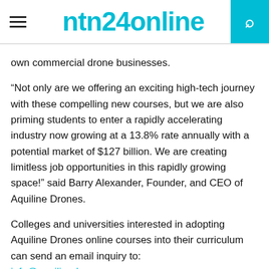ntn24online
own commercial drone businesses.
“Not only are we offering an exciting high-tech journey with these compelling new courses, but we are also priming students to enter a rapidly accelerating industry now growing at a 13.8% rate annually with a potential market of $127 billion. We are creating limitless job opportunities in this rapidly growing space!” said Barry Alexander, Founder, and CEO of Aquiline Drones.
Colleges and universities interested in adopting Aquiline Drones online courses into their curriculum can send an email inquiry to: info@aquilinedrones.com.
About Aquiline Drones:
Aquiline Drones Corporation (AD) is a progressive American